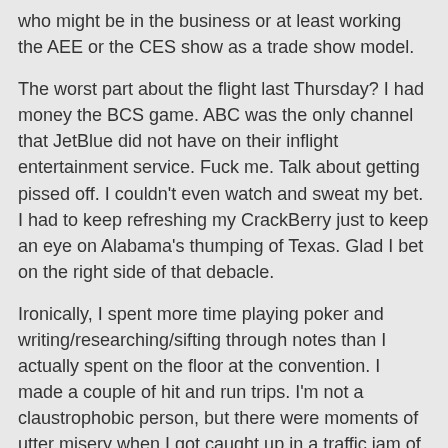who might be in the business or at least working the AEE or the CES show as a trade show model.
The worst part about the flight last Thursday? I had money the BCS game. ABC was the only channel that JetBlue did not have on their inflight entertainment service. Fuck me. Talk about getting pissed off. I couldn't even watch and sweat my bet. I had to keep refreshing my CrackBerry just to keep an eye on Alabama's thumping of Texas. Glad I bet on the right side of that debacle.
Ironically, I spent more time playing poker and writing/researching/sifting through notes than I actually spent on the floor at the convention. I made a couple of hit and run trips. I'm not a claustrophobic person, but there were moments of utter misery when I got caught up in a traffic jam of sex freaks with cameras and boners who weren't moving anywhere because of the logjam of fans seeking photos and autographs from their favorite porn stars.
I crashed with the Friedmans at their new home in the far out burbs. I had my own room with a bathroom/shower and desk